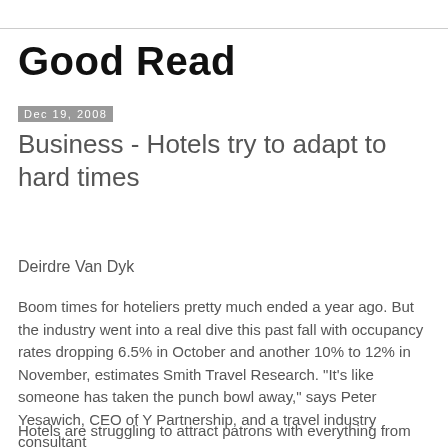Good Read
Dec 19, 2008
Business - Hotels try to adapt to hard times
Deirdre Van Dyk
Boom times for hoteliers pretty much ended a year ago. But the industry went into a real dive this past fall with occupancy rates dropping 6.5% in October and another 10% to 12% in November, estimates Smith Travel Research. "It's like someone has taken the punch bowl away," says Peter Yesawich, CEO of Y Partnership, and a travel industry consultant
Hotels are struggling to attract patrons with everything from free breakfast to quirky promotions like an adults-only